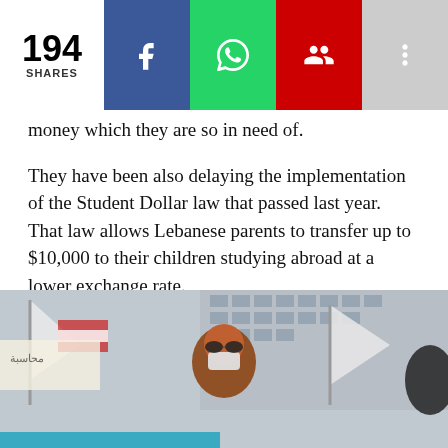194 SHARES
money which they are so in need of.
They have been also delaying the implementation of the Student Dollar law that passed last year. That law allows Lebanese parents to transfer up to $10,000 to their children studying abroad at a lower exchange rate.
Many of these students have been enduring financial difficulties away from home as banks in Lebanon are blocking their transfers.
[Figure (photo): A person wearing a mask and sunglasses holding flags at what appears to be a protest, with a building in the background. Arabic text visible on signage.]